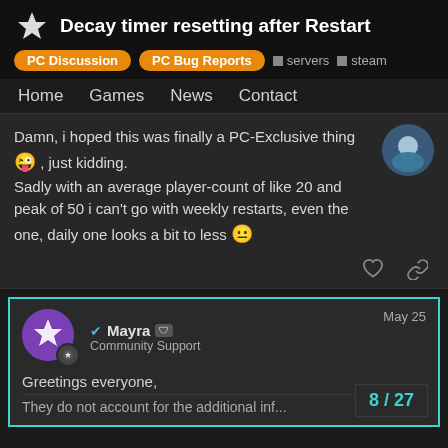Decay timer resetting after Restart
PC Discussion  PC Bug Reports  servers  steam
Home  Games  News  Contact
Damn, i hoped this was finally a PC-Exclusive thing 😜 , just kidding.
Sadly with an average player-count of like 20 and peak of 50 i can't go with weekly restarts, even the one, daily one looks a bit to less 😐
Mayra  Community Support  May 25
Greetings everyone,
8 / 27